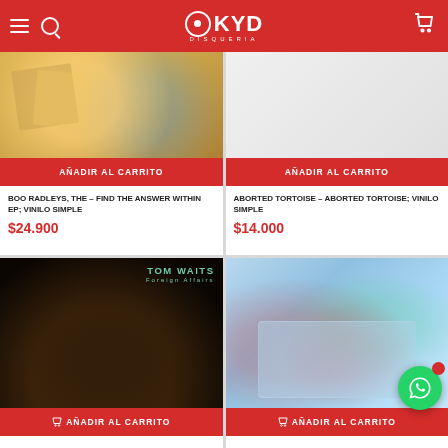OKYD DISQUERIA
AÑADIR AL CARRITO
AÑADIR AL CARRITO
BOO RADLEYS, THE – FIND THE ANSWER WITHIN EP; VINILO SIMPLE
$24.900
ABORTED TORTOISE – ABORTED TORTOISE; VINILO SIMPLE
$14.000
[Figure (photo): Tom Waits album cover - black and white photo of person holding a glass, with TOM WAITS text and Foreign Affairs subtitle in teal]
[Figure (photo): Faded colorful album artwork with light blue background and abstract shapes]
AÑADIR AL CARRITO
AÑADIR AL CARRITO